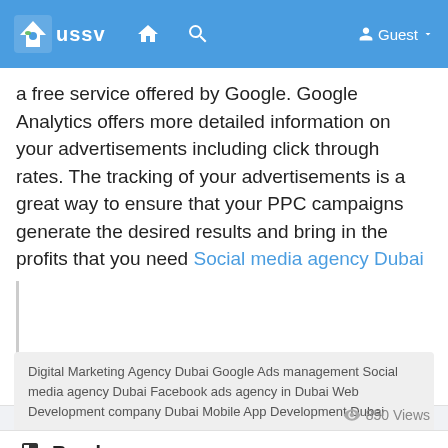ussv | Guest
a free service offered by Google. Google Analytics offers more detailed information on your advertisements including click through rates. The tracking of your advertisements is a great way to ensure that your PPC campaigns generate the desired results and bring in the profits that you need Social media agency Dubai
Digital Marketing Agency Dubai Google Ads management Social media agency Dubai Facebook ads agency in Dubai Web Development company Dubai Mobile App Development Dubai
850 Views
Read more